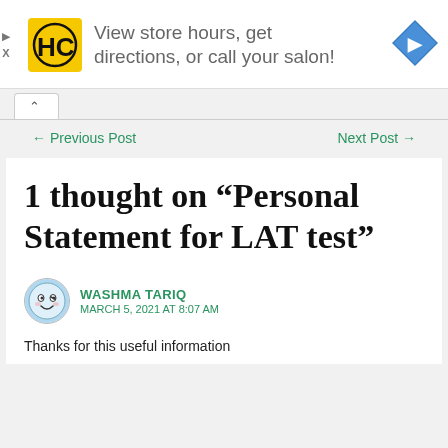[Figure (infographic): Advertisement banner: HC salon logo (yellow square with HC letters), text 'View store hours, get directions, or call your salon!', blue diamond navigation arrow icon on right. Small play and X controls on left edge.]
← Previous Post
Next Post →
1 thought on “Personal Statement for LAT test”
WASHMA TARIQ
MARCH 5, 2021 AT 8:07 AM
Thanks for this useful information